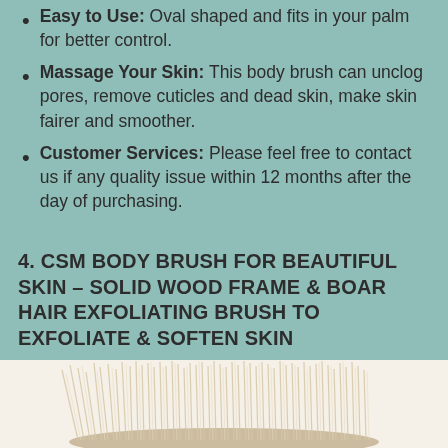Easy to Use: Oval shaped and fits in your palm for better control.
Massage Your Skin: This body brush can unclog pores, remove cuticles and dead skin, make skin fairer and smoother.
Customer Services: Please feel free to contact us if any quality issue within 12 months after the day of purchasing.
4. CSM BODY BRUSH FOR BEAUTIFUL SKIN – SOLID WOOD FRAME & BOAR HAIR EXFOLIATING BRUSH TO EXFOLIATE & SOFTEN SKIN
[Figure (photo): Photo of a body brush with light-colored boar hair bristles, partially visible at the bottom of the page against a white/cream background.]